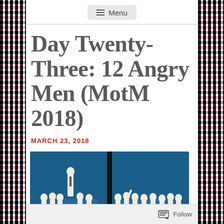Menu
Day Twenty-Three: 12 Angry Men (MotM 2018)
MARCH 23, 2018
[Figure (illustration): Movie poster artwork for 12 Angry Men showing a group of men in suits seated and standing around a table, rendered in blue, white and yellow colors. The image appears twice side by side.]